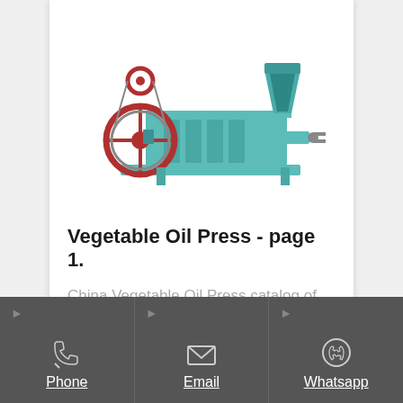[Figure (photo): A teal/turquoise colored vegetable oil press machine with a red flywheel on the left, a hopper on the upper right, and screw press barrel in the middle, viewed from the side.]
Vegetable Oil Press - page 1.
China Vegetable Oil Press catalog of Hpyl-200 Oil Press, 40 Years Experience Oil Press for...
Phone | Email | Whatsapp